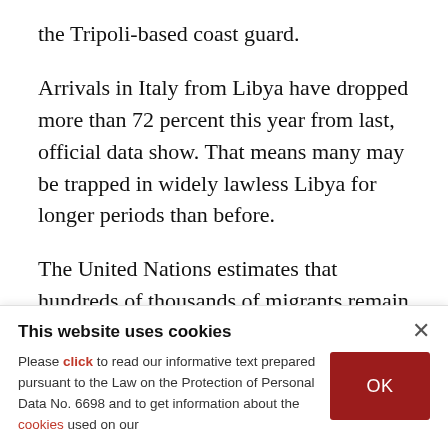the Tripoli-based coast guard.
Arrivals in Italy from Libya have dropped more than 72 percent this year from last, official data show. That means many may be trapped in widely lawless Libya for longer periods than before.
The United Nations estimates that hundreds of thousands of migrants remain in Libya. Those who make it to Italy tell of being extorted, beaten, tortured, raped, starved and forced to work for no
This website uses cookies
Please click to read our informative text prepared pursuant to the Law on the Protection of Personal Data No. 6698 and to get information about the cookies used on our